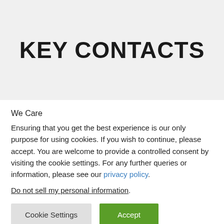KEY CONTACTS
We Care
Ensuring that you get the best experience is our only purpose for using cookies. If you wish to continue, please accept. You are welcome to provide a controlled consent by visiting the cookie settings. For any further queries or information, please see our privacy policy.
Do not sell my personal information.